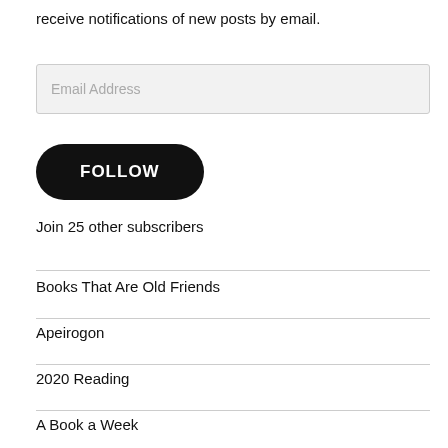receive notifications of new posts by email.
[Figure (other): Email address input field with placeholder text 'Email Address']
[Figure (other): Black rounded FOLLOW button]
Join 25 other subscribers
Books That Are Old Friends
Apeirogon
2020 Reading
A Book a Week